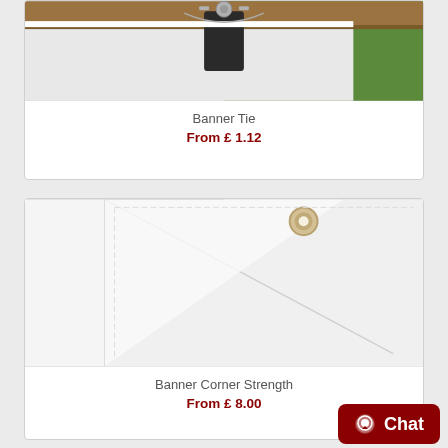[Figure (photo): Banner Tie product photo showing a metal clamp/tie attached to a wooden rail with grass in the background]
Banner Tie
From £ 1.12
[Figure (photo): Banner Corner Strength product photo showing a white banner corner with a metal eyelet/grommet]
Banner Corner Strength
From £ 8.00